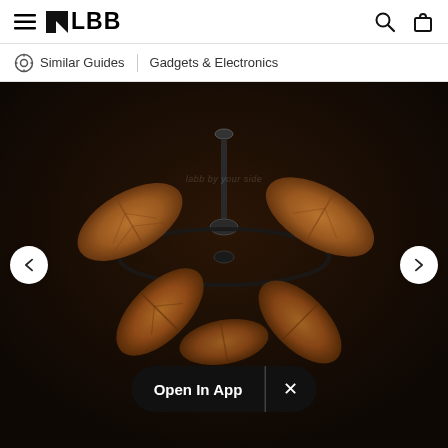≡ LBB  🔍 🛍
Similar Guides   Gadgets & Electronics
[Figure (photo): A ceiling fan with wooden palm-leaf shaped blades against a dark brown/black background, photographed from below at an angle. The fan has a modern circular ring design with four large oval tropical-leaf blades in warm brown tones.]
Open In App  ×